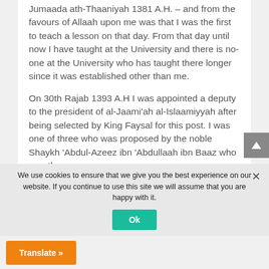Jumaada ath-Thaaniyah 1381 A.H. – and from the favours of Allaah upon me was that I was the first to teach a lesson on that day. From that day until now I have taught at the University and there is no-one at the University who has taught there longer since it was established other than me.

On 30th Rajab 1393 A.H I was appointed a deputy to the president of al-Jaami'ah al-Islaamiyyah after being selected by King Faysal for this post. I was one of three who was proposed by the noble Shaykh 'Abdul-Azeez ibn 'Abdullaah ibn Baaz who was then
We use cookies to ensure that we give you the best experience on our website. If you continue to use this site we will assume that you are happy with it.
Ok
Translate »